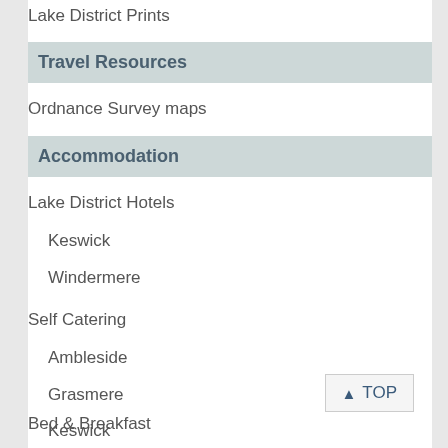Lake District Prints
Travel Resources
Ordnance Survey maps
Accommodation
Lake District Hotels
Keswick
Windermere
Self Catering
Ambleside
Grasmere
Keswick
Bed & Breakfast